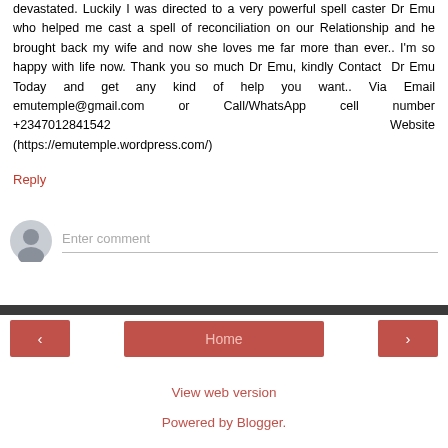devastated. Luckily I was directed to a very powerful spell caster Dr Emu who helped me cast a spell of reconciliation on our Relationship and he brought back my wife and now she loves me far more than ever.. I'm so happy with life now. Thank you so much Dr Emu, kindly Contact Dr Emu Today and get any kind of help you want.. Via Email emutemple@gmail.com or Call/WhatsApp cell number +2347012841542                                          Website (https://emutemple.wordpress.com/)
Reply
[Figure (other): User avatar icon (grey silhouette) next to an Enter comment input field]
Home
View web version
Powered by Blogger.